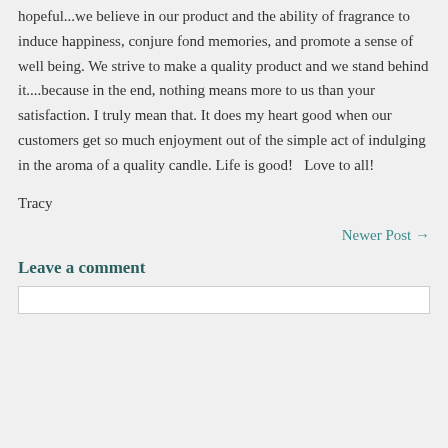hopeful...we believe in our product and the ability of fragrance to induce happiness, conjure fond memories, and promote a sense of well being. We strive to make a quality product and we stand behind it....because in the end, nothing means more to us than your satisfaction. I truly mean that. It does my heart good when our customers get so much enjoyment out of the simple act of indulging in the aroma of a quality candle. Life is good!   Love to all!
Tracy
Newer Post →
Leave a comment